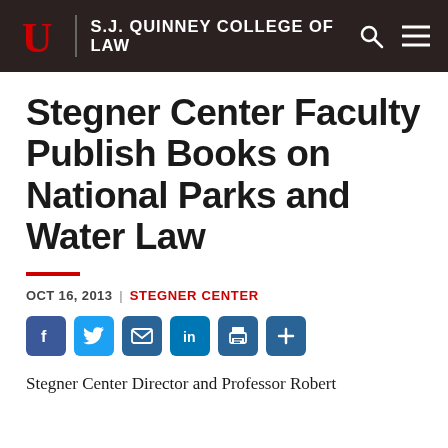S.J. QUINNEY COLLEGE OF LAW
Stegner Center Faculty Publish Books on National Parks and Water Law
OCT 16, 2013 | STEGNER CENTER
[Figure (other): Social share icons: Facebook, Twitter, Email, LinkedIn, Print, Plus]
Stegner Center Director and Professor Robert